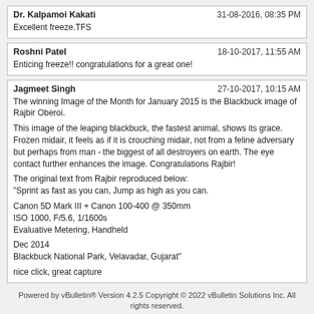Dr. Kalpamoi Kakati | 31-08-2016, 08:35 PM | Excellent freeze.TFS
Roshni Patel | 18-10-2017, 11:55 AM | Enticing freeze!! congratulations for a great one!
Jagmeet Singh | 27-10-2017, 10:15 AM | The winning Image of the Month for January 2015 is the Blackbuck image of Rajbir Oberoi. This image of the leaping blackbuck, the fastest animal, shows its grace. Frozen midair, it feels as if it is crouching midair, not from a feline adversary but perhaps from man - the biggest of all destroyers on earth. The eye contact further enhances the image. Congratulations Rajbir! The original text from Rajbir reproduced below: "Sprint as fast as you can, Jump as high as you can. Canon 5D Mark III + Canon 100-400 @ 350mm ISO 1000, F/5.6, 1/1600s Evaluative Metering, Handheld Dec 2014 Blackbuck National Park, Velavadar, Gujarat" nice click, great capture
Powered by vBulletin® Version 4.2.5 Copyright © 2022 vBulletin Solutions Inc. All rights reserved.